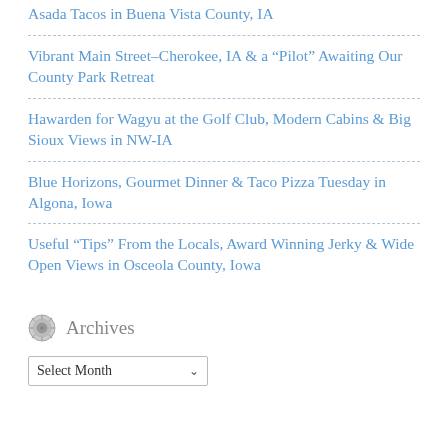Asada Tacos in Buena Vista County, IA
Vibrant Main Street–Cherokee, IA & a “Pilot” Awaiting Our County Park Retreat
Hawarden for Wagyu at the Golf Club, Modern Cabins & Big Sioux Views in NW-IA
Blue Horizons, Gourmet Dinner & Taco Pizza Tuesday in Algona, Iowa
Useful “Tips” From the Locals, Award Winning Jerky & Wide Open Views in Osceola County, Iowa
Archives
Select Month